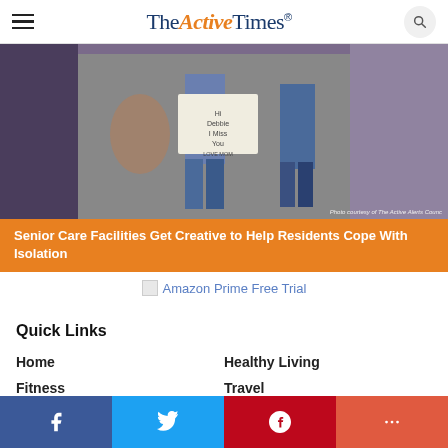The Active Times
[Figure (photo): People holding a handwritten sign that reads 'Hi Debbie I Miss You LOVE MOM' at a senior care facility outdoor gathering]
Senior Care Facilities Get Creative to Help Residents Cope With Isolation
Amazon Prime Free Trial
Quick Links
Home
Healthy Living
Fitness
Travel
Facebook  Twitter  Pinterest  More